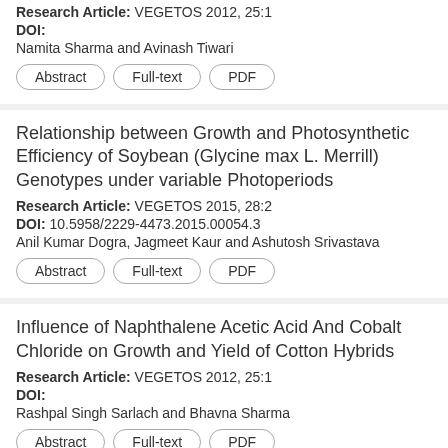Research Article: VEGETOS 2012, 25:1
DOI:
Namita Sharma and Avinash Tiwari
Abstract | Full-text | PDF
Relationship between Growth and Photosynthetic Efficiency of Soybean (Glycine max L. Merrill) Genotypes under variable Photoperiods
Research Article: VEGETOS 2015, 28:2
DOI: 10.5958/2229-4473.2015.00054.3
Anil Kumar Dogra, Jagmeet Kaur and Ashutosh Srivastava
Abstract | Full-text | PDF
Influence of Naphthalene Acetic Acid And Cobalt Chloride on Growth and Yield of Cotton Hybrids
Research Article: VEGETOS 2012, 25:1
DOI:
Rashpal Singh Sarlach and Bhavna Sharma